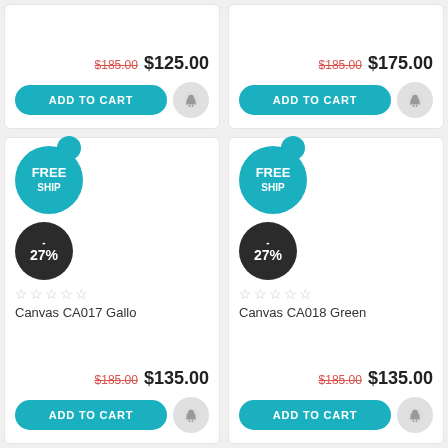[Figure (screenshot): E-commerce product grid showing 4 product cards (2 partial at top, 2 full below). Each card shows a FREE SHIPPING badge, a discount badge (-27%), star ratings, product name, original price crossed out, sale price, and ADD TO CART button.]
$185.00  $125.00
ADD TO CART
$185.00  $175.00
ADD TO CART
FREE SHIPPING  -27%  Canvas CA017 Gallo  $185.00  $135.00  ADD TO CART
FREE SHIPPING  -27%  Canvas CA018 Green  $185.00  $135.00  ADD TO CART